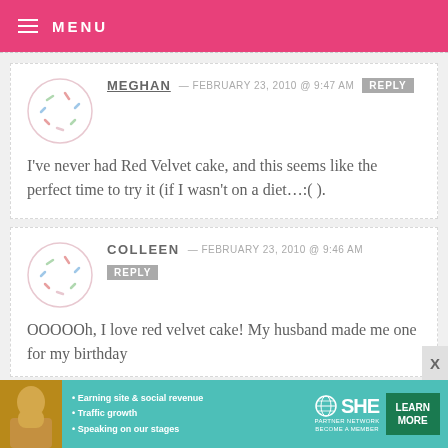MENU
MEGHAN — FEBRUARY 23, 2010 @ 9:47 AM REPLY
I've never had Red Velvet cake, and this seems like the perfect time to try it (if I wasn't on a diet…:( ).
COLLEEN — FEBRUARY 23, 2010 @ 9:46 AM REPLY
OOOOOh, I love red velvet cake! My husband made me one for my birthday
[Figure (infographic): SHE Partner Network advertisement banner with woman photo, bullet points about earning site & social revenue, traffic growth, speaking on our stages, and a Learn More button]